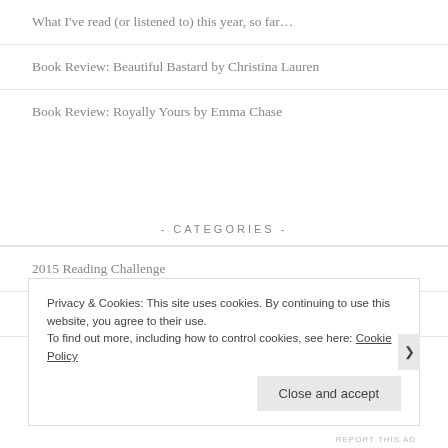What I've read (or listened to) this year, so far…
Book Review: Beautiful Bastard by Christina Lauren
Book Review: Royally Yours by Emma Chase
- CATEGORIES -
2015 Reading Challenge
2016 Reading Challenge
Privacy & Cookies: This site uses cookies. By continuing to use this website, you agree to their use.
To find out more, including how to control cookies, see here: Cookie Policy
Close and accept
REPORT THIS AD